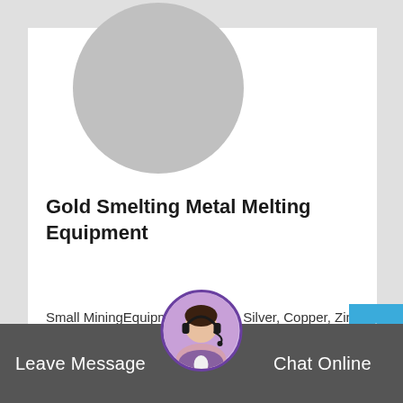[Figure (illustration): Grey circular placeholder image for product/profile picture]
Gold Smelting Metal Melting Equipment
Small MiningEquipmentfor Gold, Silver, Copper, Zinc, Lead ... all Metals. Contact Us. Login; Cart / US $ 0. 0 . Gold Recovery. Concentrating Tables;...
Read More →
[Figure (photo): Customer support agent avatar — woman with headset, circular crop with purple border]
Leave Message
Chat Online